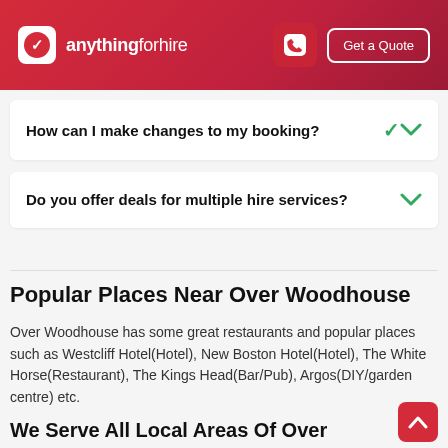[Figure (logo): anythingforhire logo and navigation header with red gradient background, phone icon button, and Get a Quote button]
How can I make changes to my booking?
Do you offer deals for multiple hire services?
Popular Places Near Over Woodhouse
Over Woodhouse has some great restaurants and popular places such as Westcliff Hotel(Hotel), New Boston Hotel(Hotel), The White Horse(Restaurant), The Kings Head(Bar/Pub), Argos(DIY/garden centre) etc.
We Serve All Local Areas Of Over